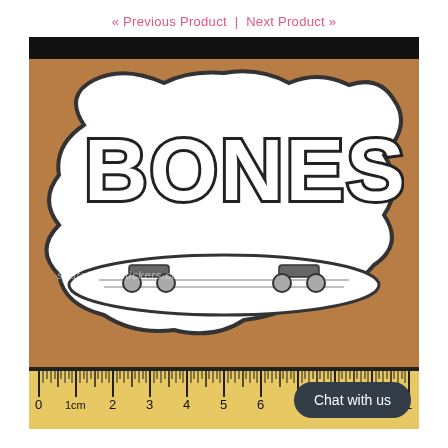« Previous Product  |  Next Product »
[Figure (photo): A Bones skateboard brand sticker showing bold graffiti-style 'BONES' text over a skateboard illustration, placed on a cardboard background with a ruler visible at the bottom. Website watermark 'skateboardstickers.com' is visible. A 'Chat with us' button appears in the lower right.]